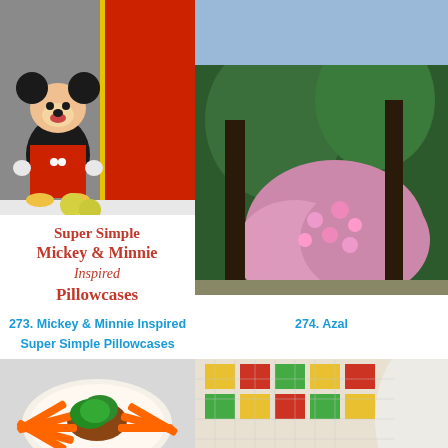[Figure (photo): Mickey Mouse plush toy sitting next to a red and yellow striped pillow/pillowcase with tennis balls, on a gray knit surface. Overlaid text reads 'Super Simple Mickey & Minnie Inspired Pillowcases' in red serif font.]
[Figure (photo): Partial view of garden with pink azalea flowers and green trees/shrubs.]
273. Mickey & Minnie Inspired Super Simple Pillowcases
274. Azal
[Figure (photo): Plate with carrots arranged in a fan shape around a bowl containing vegetables and greens, on a white lace tablecloth.]
[Figure (photo): Partial view of a colorful patterned textile or quilt with bright yellow, green, red and white colors.]